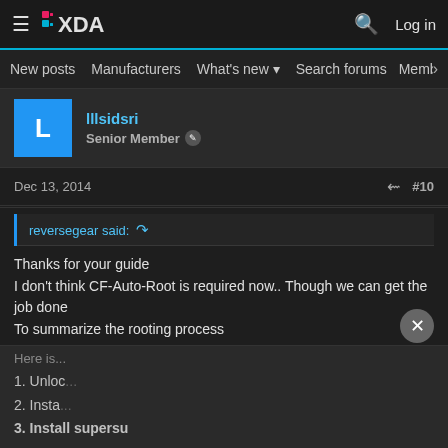XDA Developers — Navigation bar with hamburger menu, XDA logo, search icon, Log in
New posts  Manufacturers  What's new  Search forums  Membe  >
lllsidsri
Senior Member
Dec 13, 2014  #10
reversegear said:
Thanks for your guide
I don't think CF-Auto-Root is required now.. Though we can get the job done
To summarize the rooting process
Here is...
1. Unloc...
2. Insta...
3. Install supersu
[Figure (other): Disney Bundle advertisement banner: hulu, Disney+, ESPN+ logos with 'GET THE DISNEY BUNDLE' CTA button. Fine print: Incl. Hulu (ad-supported) or Hulu (No Ads). Access content from each service separately. ©2021 Disney and its related entities]